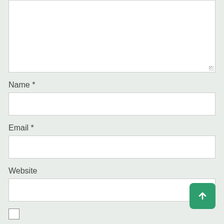[Figure (screenshot): A textarea (comment input box) with a resize handle in the bottom-right corner, shown on a light grey background.]
Name *
[Figure (screenshot): A text input field for Name, white background with grey border.]
Email *
[Figure (screenshot): A text input field for Email, white background with grey border.]
Website
[Figure (screenshot): A text input field for Website, white background with grey border, with a green scroll-to-top button in the bottom right.]
Save my name, email, and website in this browser for the